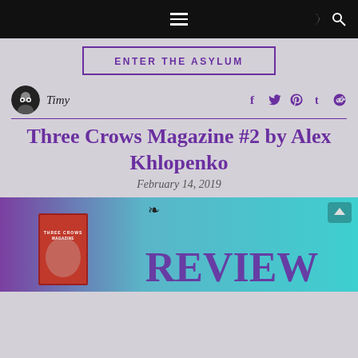Navigation bar with hamburger menu and icons
[Figure (logo): Banner with text ENTER THE ASYLUM in purple on light gray background with purple border]
Timy
Social share icons: Facebook, Twitter, Pinterest, Tumblr, Reddit
Three Crows Magazine #2 by Alex Khlopenko
February 14, 2019
[Figure (photo): Review banner image showing Three Crows Magazine cover against teal/purple gradient background with REVIEW text overlay]